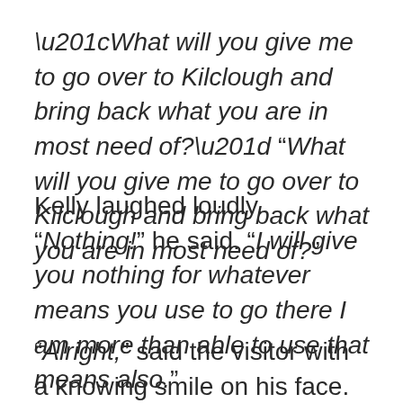“What will you give me to go over to Kilclough and bring back what you are in most need of?”
Kelly laughed loudly. “Nothing!” he said. “I will give you nothing for whatever means you use to go there I am more than able to use that means also.”
“Alright,” said the visitor with a knowing smile on his face. “Get on